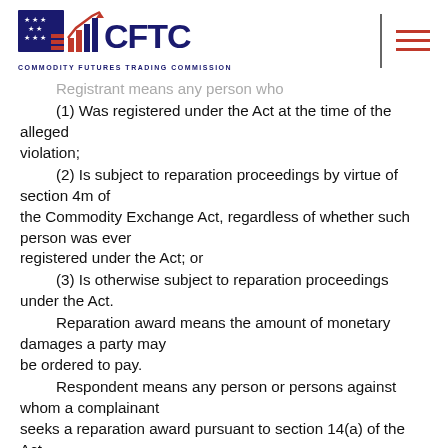CFTC - Commodity Futures Trading Commission
(1) Was registered under the Act at the time of the alleged violation;
(2) Is subject to reparation proceedings by virtue of section 4m of the Commodity Exchange Act, regardless of whether such person was ever registered under the Act; or
(3) Is otherwise subject to reparation proceedings under the Act.
Reparation award means the amount of monetary damages a party may be ordered to pay.
Respondent means any person or persons against whom a complainant seeks a reparation award pursuant to section 14(a) of the Act.
Summary decisional procedure means, where the amount of total damages claimed does not exceed $30,000, exclusive